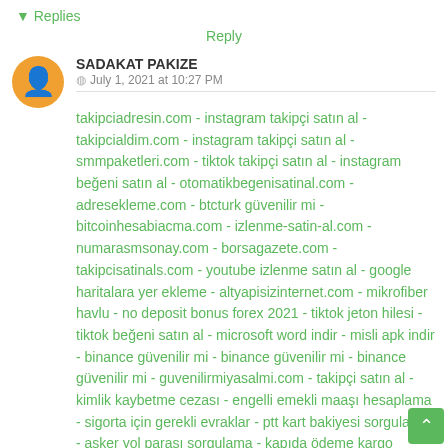▾ Replies
Reply
SADAKAT PAKIZE
July 1, 2021 at 10:27 PM
takipciadresin.com - instagram takipçi satın al - takipcialdim.com - instagram takipçi satın al - smmpaketleri.com - tiktok takipçi satın al - instagram beğeni satın al - otomatikbegenisatinal.com - adresekleme.com - btcturk güvenilir mi - bitcoinhesabiacma.com - izlenme-satin-al.com - numarasmsonay.com - borsagazete.com - takipcisatinals.com - youtube izlenme satın al - google haritalara yer ekleme - altyapisizinternet.com - mikrofiber havlu - no deposit bonus forex 2021 - tiktok jeton hilesi - tiktok beğeni satın al - microsoft word indir - misli apk indir - binance güvenilir mi - binance güvenilir mi - binance güvenilir mi - guvenilirmiyasalmi.com - takipçi satın al - kimlik kaybetme cezası - engelli emekli maaşı hesaplama - sigorta için gerekli evraklar - ptt kart bakiyesi sorgulama - asker yol parası sorgulama - kapıda ödeme kargo gönderme - aile hekimi maaşları - esnaf odası kayıt ücreti - bankaların pos cihazı komisyon oranları - mikrofiber havlu